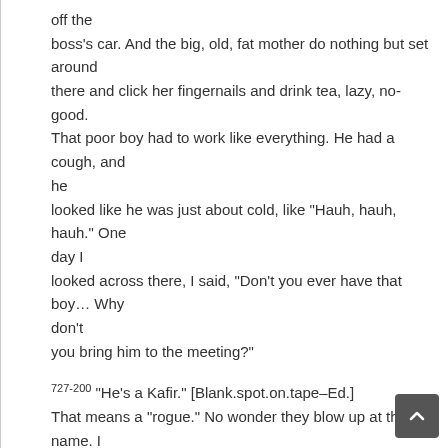off the boss's car. And the big, old, fat mother do nothing but set around there and click her fingernails and drink tea, lazy, no-good. That poor boy had to work like everything. He had a cough, and he looked like he was just about cold, like "Hauh, hauh, hauh." One day I looked across there, I said, "Don't you ever have that boy… Why don't you bring him to the meeting?"
727-200 "He's a Kafir." [Blank.spot.on.tape–Ed.] That means a "rogue." No wonder they blow up at that name. I would too. That man's my brother. And there he is. He's not a slave. His color is nothing to do with it. He's my brother. There he was like that. I walked out, I called him, "Thomas." The boy could speak three languages. And I said, "Thomas?" He turned around, fell on his knees and put his hands up, sa